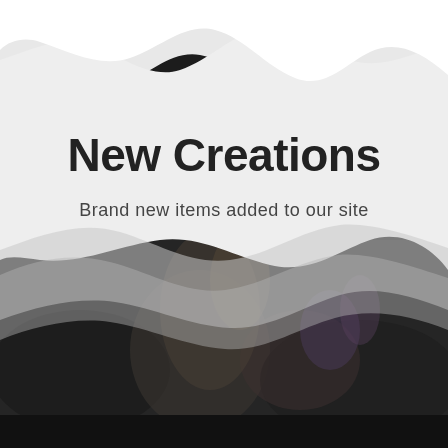[Figure (illustration): Promotional banner with a wavy design. The top half features a light gray background with white wavy mountain-like shapes at the very top. The bottom half shows a dark, desaturated photo of a person holding flowers among foliage. A semi-transparent white/gray wavy band overlaps the transition between the two halves.]
New Creations
Brand new items added to our site